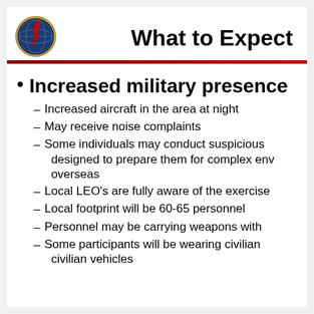[Figure (logo): Military unit insignia — circular badge with red arrow/lightning bolt on globe, black and gold border]
What to Expect
Increased military presence
Increased aircraft in the area at night
May receive noise complaints
Some individuals may conduct suspicious activities designed to prepare them for complex environments overseas
Local LEO's are fully aware of the exercise
Local footprint will be 60-65 personnel
Personnel may be carrying weapons with
Some participants will be wearing civilian attire and civilian vehicles